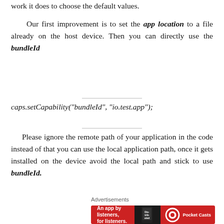work it does to choose the default values.
Our first improvement is to set the app location to a file already on the host device. Then you can directly use the bundleId
Please ignore the remote path of your application in the code instead of that you can use the local application path, once it gets installed on the device avoid the local path and stick to use bundleId.
Advertisements
[Figure (illustration): Pocket Casts advertisement banner: red background with text 'An app by listeners, for listeners.' and Pocket Casts logo on the right, with a phone graphic in the center.]